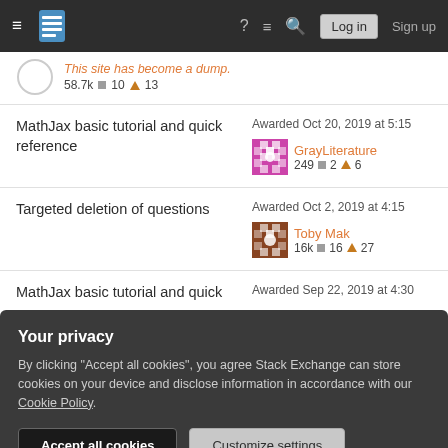Stack Exchange navigation bar with Log in and Sign up buttons
This site has become a dump. 58.7k ■10 ▲13
MathJax basic tutorial and quick reference — Awarded Oct 20, 2019 at 5:15 — GrayLiterature 249 ■2 ▲6
Targeted deletion of questions — Awarded Oct 2, 2019 at 4:15 — Toby Mak 16k ■16 ▲27
MathJax basic tutorial and quick reference — Awarded Sep 22, 2019 at 4:30
Your privacy
By clicking "Accept all cookies", you agree Stack Exchange can store cookies on your device and disclose information in accordance with our Cookie Policy.
Accept all cookies | Customize settings